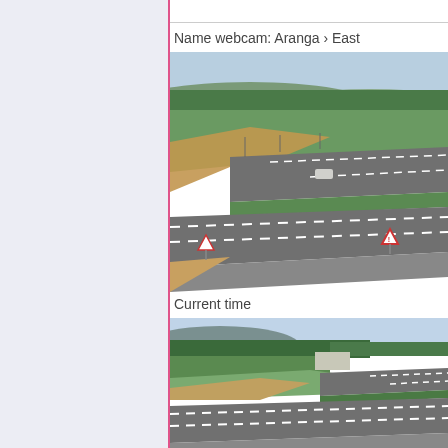Name webcam: Aranga › East
[Figure (photo): Highway webcam image showing a dual carriageway road with a vehicle visible, dry grass embankments, green trees and hills in the background, and a warning triangle road sign on the right side. Clear sky with some clouds.]
Current time
[Figure (photo): Second highway webcam image showing the same dual carriageway road from a similar elevated angle, with green forest on the left, hills in the background, and road lanes visible. Appears to be taken at a different time with slightly different light conditions.]